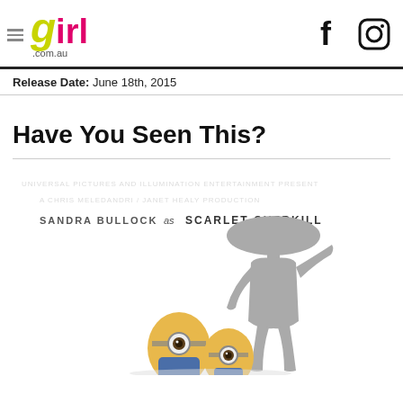girl.com.au
Release Date: June 18th, 2015
Have You Seen This?
[Figure (illustration): Movie promotional illustration showing a stylized grey silhouette figure (Scarlet Overkill) standing over cartoon minion characters. Text reads 'SANDRA BULLOCK as SCARLET OVERKILL'. This is from the Minions movie (2015).]